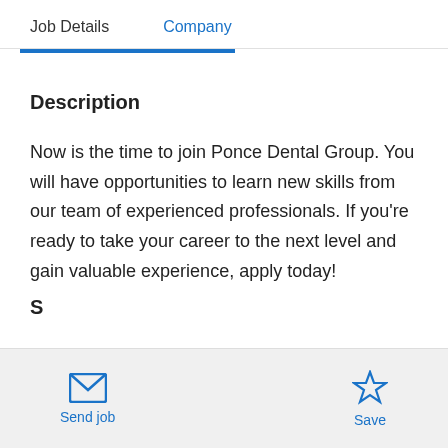Job Details   Company
Description
Now is the time to join Ponce Dental Group. You will have opportunities to learn new skills from our team of experienced professionals. If you're ready to take your career to the next level and gain valuable experience, apply today!
Send job   Save